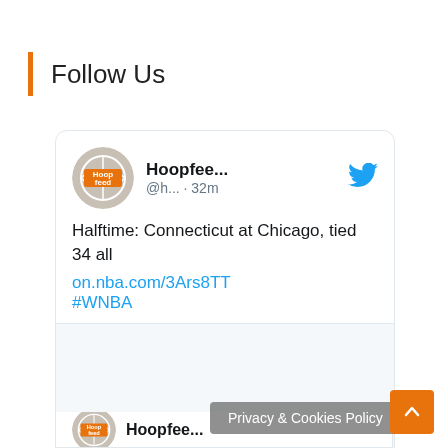Follow Us
[Figure (screenshot): A Twitter/social media widget card showing a tweet from Hoopfeed (@h...) posted 32 minutes ago. Tweet text: 'Halftime: Connecticut at Chicago, tied 34 all on.nba.com/3Ars8TT #WNBA'. Card includes the Hoopfeed logo, Twitter bird icon, an image placeholder, and action icons (comment, like with count 2). A second Hoopfeed card header is partially visible at the bottom.]
Privacy & Cookies Policy